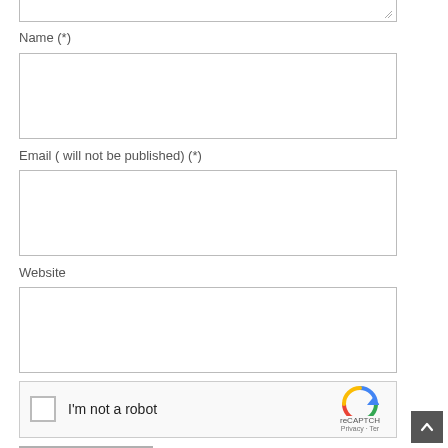Name (*)
Email ( will not be published) (*)
Website
[Figure (other): reCAPTCHA widget with checkbox labeled 'I'm not a robot' and reCAPTCH logo with Privacy and Terms links]
Add Comment